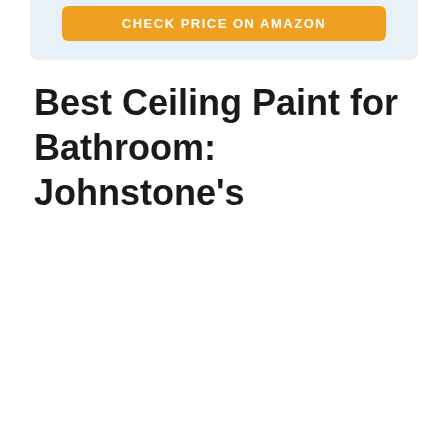[Figure (other): Light blue box with an orange Amazon button at the top of the page]
Best Ceiling Paint for Bathroom: Johnstone’s